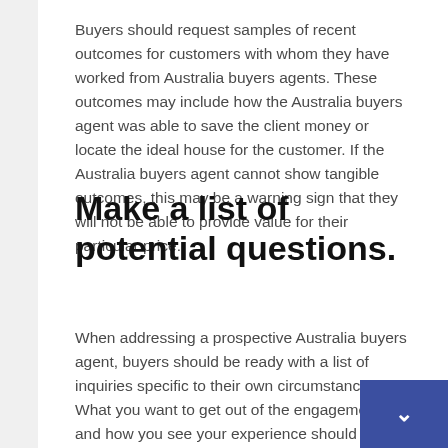Buyers should request samples of recent outcomes for customers with whom they have worked from Australia buyers agents. These outcomes may include how the Australia buyers agent was able to save the client money or locate the ideal house for the customer. If the Australia buyers agent cannot show tangible outcomes, this may be a warning sign that they will not be able to provide value for their particular price.
Make a list of potential questions.
When addressing a prospective Australia buyers agent, buyers should be ready with a list of inquiries specific to their own circumstances. What you want to get out of the engagement and how you see your experience should be at the forefront of your list of questions. Why did you choose a Australia buyers agent to act as your representative, and how does it work? Ask the best buyers agent australia about their local network and how connected they are to local Australia real estates, for instance, if you are seeking to hire a Australia buyers agent